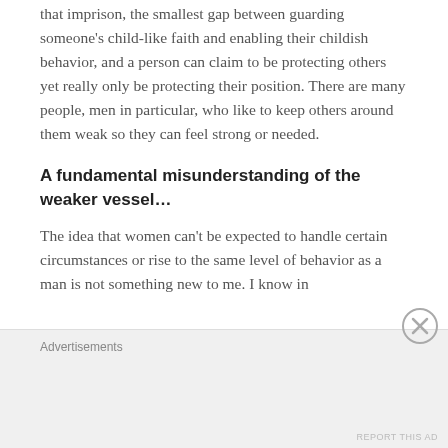that imprison, the smallest gap between guarding someone's child-like faith and enabling their childish behavior, and a person can claim to be protecting others yet really only be protecting their position. There are many people, men in particular, who like to keep others around them weak so they can feel strong or needed.
A fundamental misunderstanding of the weaker vessel...
The idea that women can't be expected to handle certain circumstances or rise to the same level of behavior as a man is not something new to me. I know in
Advertisements